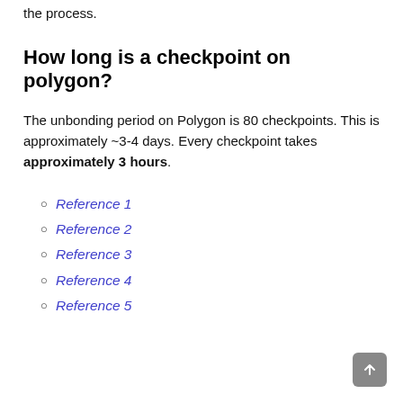the process.
How long is a checkpoint on polygon?
The unbonding period on Polygon is 80 checkpoints. This is approximately ~3-4 days. Every checkpoint takes approximately 3 hours.
Reference 1
Reference 2
Reference 3
Reference 4
Reference 5